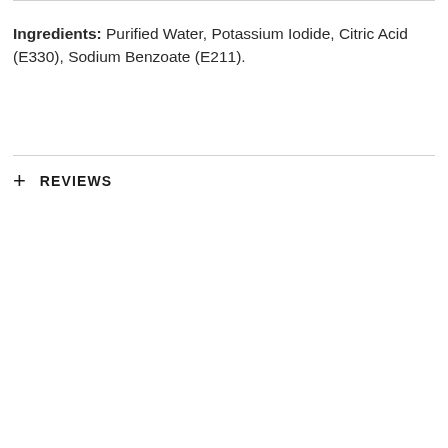Ingredients: Purified Water, Potassium Iodide, Citric Acid (E330), Sodium Benzoate (E211).
+ REVIEWS